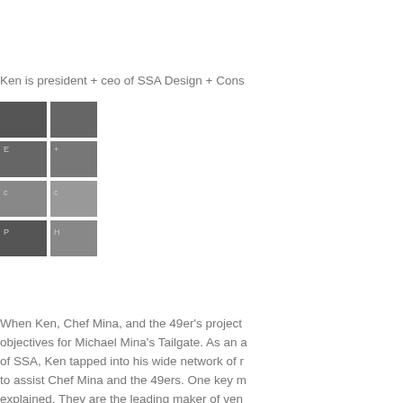Ken is president + ceo of SSA Design + Cons
[Figure (photo): Two-column grid of small thumbnail images, dark/grayscale]
When Ken, Chef Mina, and the 49er's project objectives for Michael Mina's Tailgate. As an a of SSA, Ken tapped into his wide network of r to assist Chef Mina and the 49ers. One key m explained. They are the leading maker of ven performance commercial kitchens. I hope you video and understand how Ken and SSA are a interests of their clients.